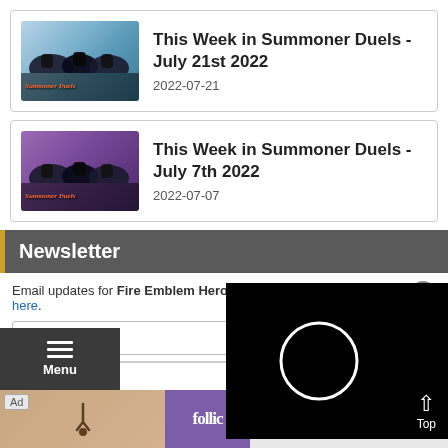[Figure (screenshot): Article card: 'This Week in Summoner Duels - July 21st 2022' with thumbnail image and date 2022-07-21]
[Figure (screenshot): Article card: 'This Week in Summoner Duels - July 7th 2022' with thumbnail image and date 2022-07-07]
Newsletter
Email updates for Fire Emblem Heroes. Sign-up for other newsletters here.
Email Address
Subscribe
[Figure (screenshot): Video overlay showing black background with white circle loading spinner and Top arrow button]
[Figure (screenshot): Bottom menu bar with hamburger icon and Menu label in dark background]
[Figure (screenshot): Ad banner: Rollic game advertisement with 'They Are Coming!' text and Download link]